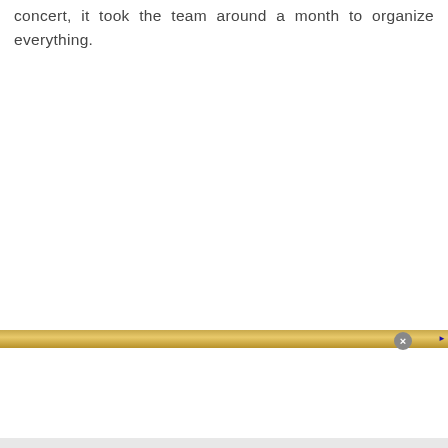concert, it took the team around a month to organize everything.
[Figure (other): Advertisement banner: Nike. Just Do It. Inspiring the world's athletes, Nike delivers the deals. www.nike.com. Contains product image, close button, and next arrow.]